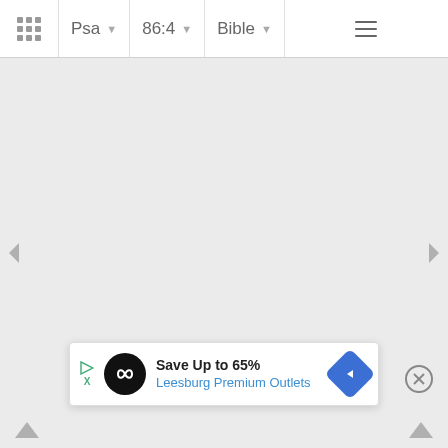Psa 86:4 Bible
[Figure (screenshot): Bible app interface showing navigation bar with grid icon, book selector (Psa), verse selector (86:4), Bible dropdown, and hamburger menu. Large empty gray content area with left and right navigation arrows.]
[Figure (infographic): Advertisement banner: Save Up to 65% - Leesburg Premium Outlets, with black circular logo and blue diamond navigation icon]